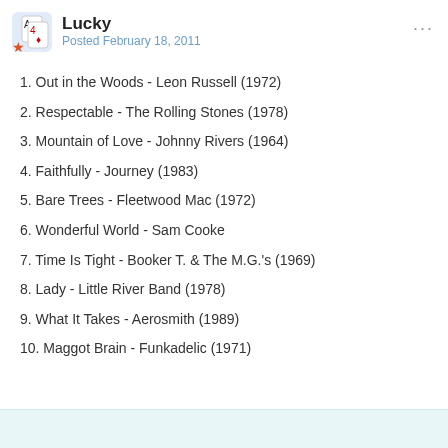Lucky — Posted February 18, 2011
1. Out in the Woods - Leon Russell (1972)
2. Respectable - The Rolling Stones (1978)
3. Mountain of Love - Johnny Rivers (1964)
4. Faithfully - Journey (1983)
5. Bare Trees - Fleetwood Mac (1972)
6. Wonderful World - Sam Cooke
7. Time Is Tight - Booker T. & The M.G.'s (1969)
8. Lady - Little River Band (1978)
9. What It Takes - Aerosmith (1989)
10. Maggot Brain - Funkadelic (1971)